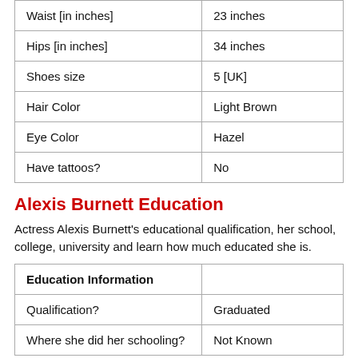| Waist [in inches] | 23 inches |
| Hips [in inches] | 34 inches |
| Shoes size | 5 [UK] |
| Hair Color | Light Brown |
| Eye Color | Hazel |
| Have tattoos? | No |
Alexis Burnett Education
Actress Alexis Burnett's educational qualification, her school, college, university and learn how much educated she is.
| Education Information |  |
| --- | --- |
| Qualification? | Graduated |
| Where she did her schooling? | Not Known |